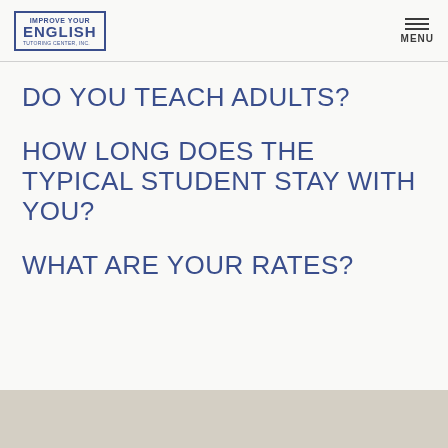IMPROVE YOUR ENGLISH TUTORING CENTER, INC. | MENU
DO YOU TEACH ADULTS?
HOW LONG DOES THE TYPICAL STUDENT STAY WITH YOU?
WHAT ARE YOUR RATES?